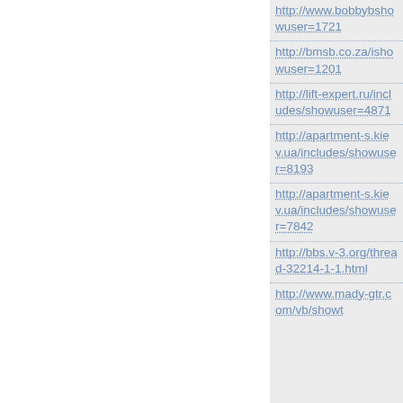http://www.bobbyb... showuser=1721
http://bmsb.co.za/i... showuser=1201
http://lift-expert.ru/includes/... showuser=4871
http://apartment-s.kiev.ua/includes/... showuser=8193
http://apartment-s.kiev.ua/includes/... showuser=7842
http://bbs.v-3.org/thread-32214-1-1.html
http://www.mady-gtr.com/vb/showt...